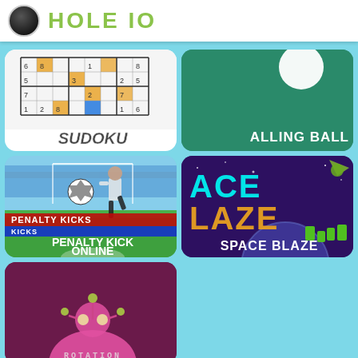HOLE IO
[Figure (screenshot): Sudoku game thumbnail with grid of numbers, orange/blue colored cells, label SUDOKU at bottom]
[Figure (screenshot): Falling Ball game thumbnail with teal background and white ball, label ALLING BALL at bottom]
[Figure (screenshot): Penalty Kick Online game thumbnail with soccer player kicking ball in stadium, red and blue banner overlays]
[Figure (screenshot): Space Blaze game thumbnail with purple space background, cyan ACE text, yellow LAZE text, planet and spaceships]
[Figure (screenshot): Rotation game thumbnail with dark pink/maroon background and robot figure made of circles]